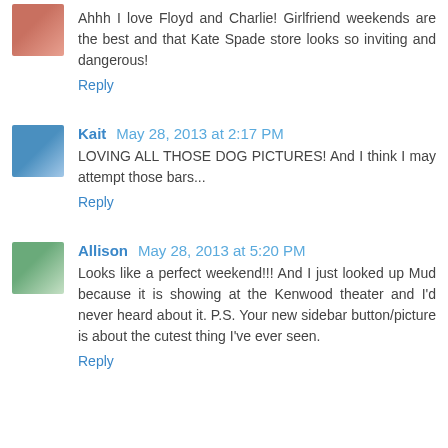Ahhh I love Floyd and Charlie! Girlfriend weekends are the best and that Kate Spade store looks so inviting and dangerous!
Reply
Kait May 28, 2013 at 2:17 PM
LOVING ALL THOSE DOG PICTURES! And I think I may attempt those bars...
Reply
Allison May 28, 2013 at 5:20 PM
Looks like a perfect weekend!!! And I just looked up Mud because it is showing at the Kenwood theater and I'd never heard about it. P.S. Your new sidebar button/picture is about the cutest thing I've ever seen.
Reply